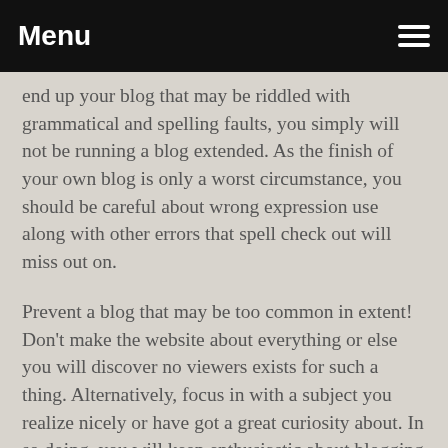Menu
end up your blog that may be riddled with grammatical and spelling faults, you simply will not be running a blog extended. As the finish of your own blog is only a worst circumstance, you should be careful about wrong expression use along with other errors that spell check out will miss out on.
Prevent a blog that may be too common in extent! Don't make the website about everything or else you will discover no viewers exists for such a thing. Alternatively, focus in with a subject you realize nicely or have got a great curiosity about. In so doing, you will keep enthusiastic about blogging and connect to visitors with a similar interests. So, choose a subject and follow it and you will make a following.
Involve visuals and images on your own blog to supply graphic fascination in your articles. Anything from charts to quotations to images can increase the amount